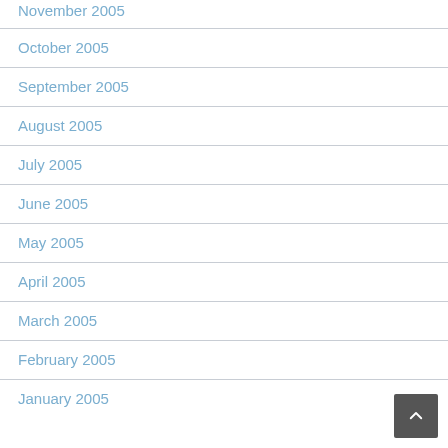November 2005
October 2005
September 2005
August 2005
July 2005
June 2005
May 2005
April 2005
March 2005
February 2005
January 2005